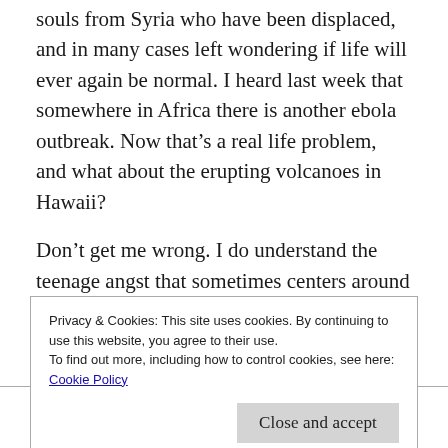souls from Syria who have been displaced, and in many cases left wondering if life will ever again be normal. I heard last week that somewhere in Africa there is another ebola outbreak. Now that's a real life problem, and what about the erupting volcanoes in Hawaii?
Don't get me wrong. I do understand the teenage angst that sometimes centers around proms. I know all too well the sting of being left out because I did not get to attend my prom, and according to my classmates I was just about the only one who did not manage to round up
Privacy & Cookies: This site uses cookies. By continuing to use this website, you agree to their use.
To find out more, including how to control cookies, see here:
Cookie Policy
Close and accept
breakdown I did recover. I had worried that I was going